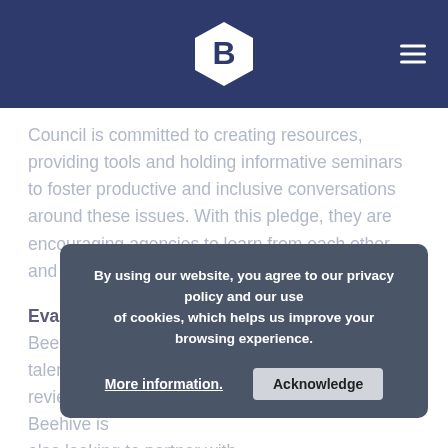[Figure (logo): Beehive company logo: white hexagon with bold dark blue letter B, on dark navy header bar with hamburger menu icon at right]
Council is committed to creating resources, providing tools and holding informative seminars to foster productive and inclusive conversations around these issues. With this pledge, they are encouraging agencies to learn from each other and work together.
Evaluating Hiring & Recruiting Practices. Beehive will strive to recruit and retain diverse talent within our organization and is actively reviewing our recruiting and interviewing practices. Beehive is also looking to partner with organizations or people who can help us learn and grow, and will institute affinity groups and professional organizations to foster diverse talent.
By using our website, you agree to our privacy policy and our use of cookies, which helps us improve your browsing experience.
More information.    Acknowledge